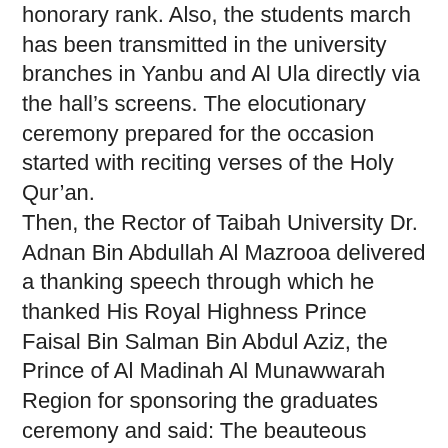honorary rank. Also, the students march has been transmitted in the university branches in Yanbu and Al Ula directly via the hall's screens. The elocutionary ceremony prepared for the occasion started with reciting verses of the Holy Qur'an. Then, the Rector of Taibah University Dr. Adnan Bin Abdullah Al Mazrooa delivered a thanking speech through which he thanked His Royal Highness Prince Faisal Bin Salman Bin Abdul Aziz, the Prince of Al Madinah Al Munawwarah Region for sponsoring the graduates ceremony and said: The beauteous moments remain in Man's life as candles which can not be quenched as they are written by ink radiating light and inscripted in the annuity of life as vainness and pride so that days remain pictures boasting for its beauty by its glory and its shine is ennobled in life, and it is what we witness this morning where the University graduates are